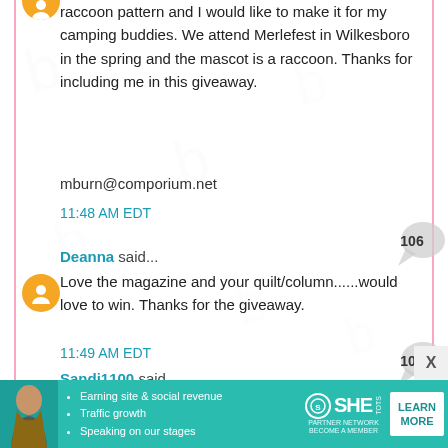raccoon pattern and I would like to make it for my camping buddies. We attend Merlefest in Wilkesboro in the spring and the mascot is a raccoon. Thanks for including me in this giveaway.
mburn@comporium.net
11:48 AM EDT
Deanna said...
Love the magazine and your quilt/column......would love to win. Thanks for the giveaway.
11:49 AM EDT
Sandi1100 said...
Wish I was going to Ireland with you but since I can't, I enjoy reading your Blog about all of your trips. Quiltmaker is my favorite quilt magazine! Been
[Figure (infographic): Advertisement banner for SHE Partner Network featuring a woman, bullet points about earning site & social revenue, traffic growth, speaking on stages, with a LEARN MORE button]